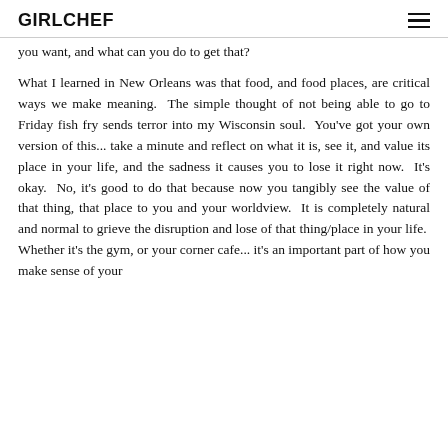GIRLCHEF
you want, and what can you do to get that?
What I learned in New Orleans was that food, and food places, are critical ways we make meaning.  The simple thought of not being able to go to Friday fish fry sends terror into my Wisconsin soul.  You've got your own version of this... take a minute and reflect on what it is, see it, and value its place in your life, and the sadness it causes you to lose it right now.  It's okay.  No, it's good to do that because now you tangibly see the value of that thing, that place to you and your worldview.  It is completely natural and normal to grieve the disruption and lose of that thing/place in your life.  Whether it's the gym, or your corner cafe... it's an important part of how you make sense of your